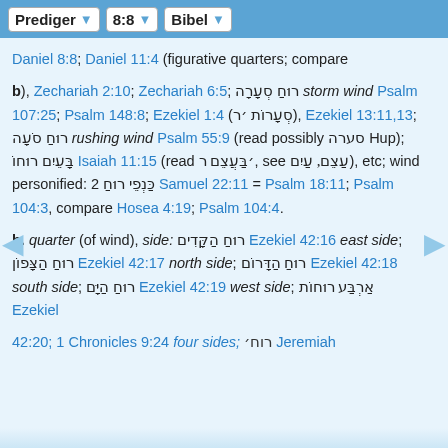Prediger  8:8  Bibel
Daniel 8:8; Daniel 11:4 (figurative quarters; compare
b), Zechariah 2:10; Zechariah 6:5; רוּחַ סְעָרָה storm wind Psalm 107:25; Psalm 148:8; Ezekiel 1:4 (סְעָרוֹת ׳ר), Ezekiel 13:11,13; רוּחַ סֹעָה rushing wind Psalm 55:9 (read possibly סערה Hup); בָּעֵיִם רוּחוֹ Isaiah 11:15 (read ׳בַּעֲצֵם ר, see עֲצֵם, עַיִם), etc; wind personified: 2 כַּנְפֵי רוּחַ Samuel 22:11 = Psalm 18:11; Psalm 104:3, compare Hosea 4:19; Psalm 104:4.
b. quarter (of wind), side: רוּחַ הַקָּדִים Ezekiel 42:16 east side; רוּחַ הַצָּפוֹן Ezekiel 42:17 north side; רוּחַ הַדָּרוֹם Ezekiel 42:18 south side; רוּחַ הַיָּם Ezekiel 42:19 west side; אַרְבַּע רוּחוֹת Ezekiel 42:20; 1 Chronicles 9:24 four sides; רוּחַ Jeremiah